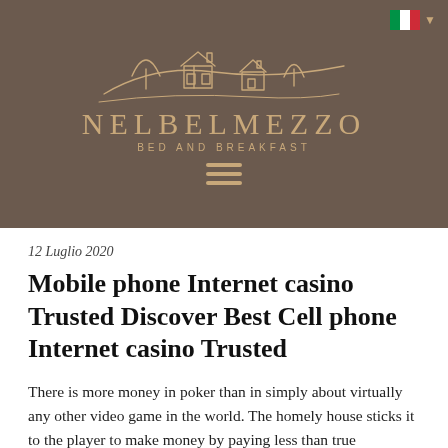[Figure (logo): Nelbelmezzo Bed and Breakfast logo with golden line-art illustration of Tuscan countryside with houses and trees on a brown/taupe background, brand name NELBELMEZZO in gold serif letters, subtitle BED AND BREAKFAST in gold spaced caps, hamburger menu icon in gold, Italian flag with dropdown arrow in top right]
12 Luglio 2020
Mobile phone Internet casino Trusted Discover Best Cell phone Internet casino Trusted
There is more money in poker than in simply about virtually any other video game in the world. The homely house sticks it to the player to make money by paying less than true